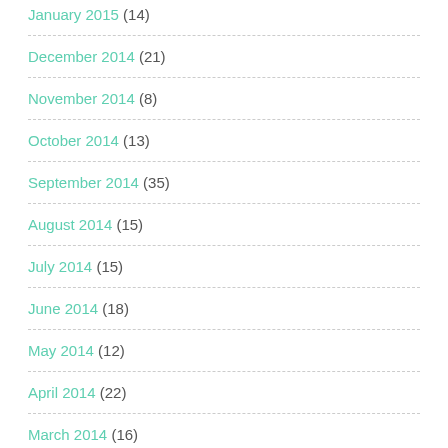January 2015 (14)
December 2014 (21)
November 2014 (8)
October 2014 (13)
September 2014 (35)
August 2014 (15)
July 2014 (15)
June 2014 (18)
May 2014 (12)
April 2014 (22)
March 2014 (16)
February 2014 (15)